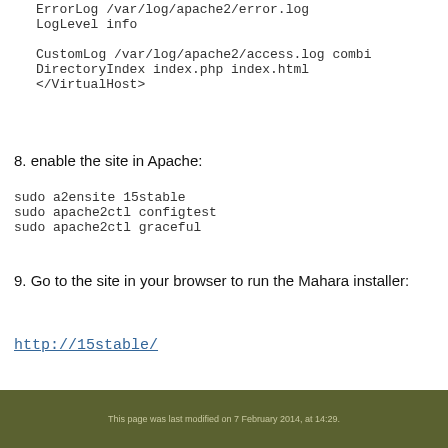ErrorLog /var/log/apache2/error.log
LogLevel info

CustomLog /var/log/apache2/access.log combi
DirectoryIndex index.php index.html
</VirtualHost>
8. enable the site in Apache:
sudo a2ensite 15stable
sudo apache2ctl configtest
sudo apache2ctl graceful
9. Go to the site in your browser to run the Mahara installer:
http://15stable/
This page was last modified on 7 February 2014, at 14:29.